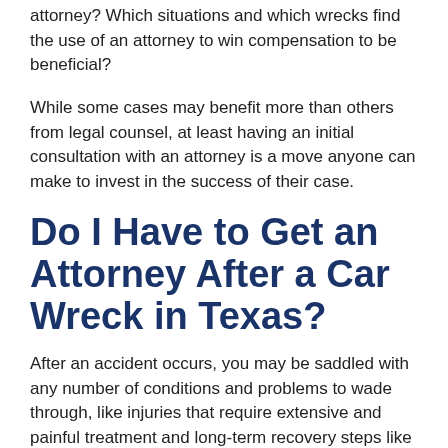attorney? Which situations and which wrecks find the use of an attorney to win compensation to be beneficial?
While some cases may benefit more than others from legal counsel, at least having an initial consultation with an attorney is a move anyone can make to invest in the success of their case.
Do I Have to Get an Attorney After a Car Wreck in Texas?
After an accident occurs, you may be saddled with any number of conditions and problems to wade through, like injuries that require extensive and painful treatment and long-term recovery steps like physical therapy.